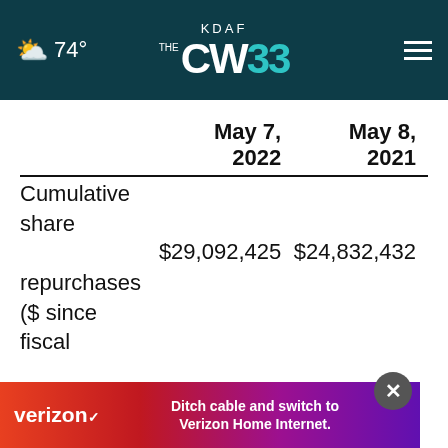74° KDAF CW33
|  | May 7, 2022 | May 8, 2021 |
| --- | --- | --- |
| Cumulative share repurchases ($ since fiscal 1998) | $29,092,425 | $24,832,432 |
| Remaining share repurchase authorization ($) | 2,057,575 | 1,317,568 |
[Figure (screenshot): Verizon advertisement banner: 'Ditch cable and switch to Verizon Home Internet.']